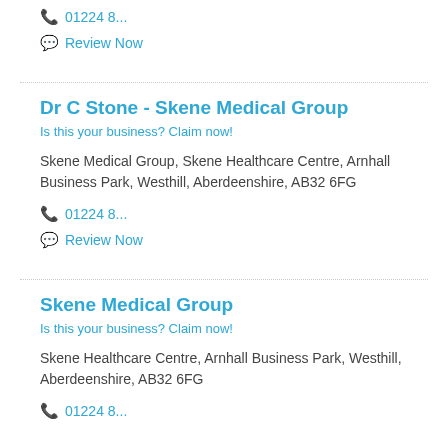📞 01224 8...
💬 Review Now
Dr C Stone - Skene Medical Group
Is this your business? Claim now!
Skene Medical Group, Skene Healthcare Centre, Arnhall Business Park, Westhill, Aberdeenshire, AB32 6FG
📞 01224 8...
💬 Review Now
Skene Medical Group
Is this your business? Claim now!
Skene Healthcare Centre, Arnhall Business Park, Westhill, Aberdeenshire, AB32 6FG
📞 01224 8...